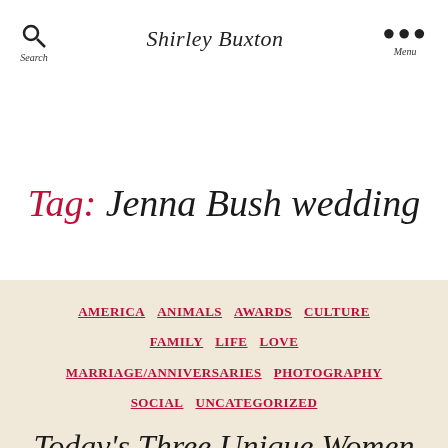Search  Shirley Buxton  Menu
Tag: Jenna Bush wedding
AMERICA  ANIMALS  AWARDS  CULTURE  FAMILY  LIFE  LOVE  MARRIAGE/ANNIVERSARIES  PHOTOGRAPHY  SOCIAL  UNCATEGORIZED
Today's Three Unique Women
By Shirley Buxton  May 10, 2008